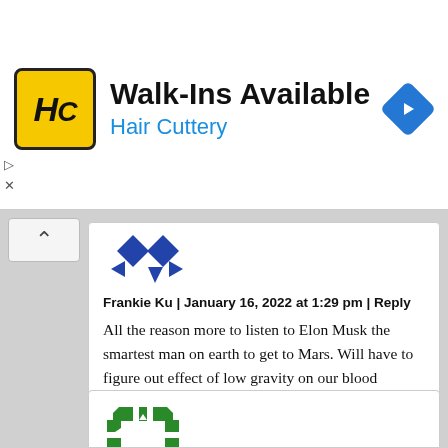[Figure (screenshot): Hair Cuttery advertisement banner with logo (HC in yellow square), text 'Walk-Ins Available' and 'Hair Cuttery' in blue, and a navigation diamond icon on the right. Small play and X controls on the left edge.]
[Figure (screenshot): Comment section showing a reply by Frankie Ku dated January 16, 2022 at 1:29 pm with blue diamond avatar icons, followed by the comment text about Elon Musk and Mars. A second partial comment card with a green avatar icon is visible at the bottom.]
Frankie Ku | January 16, 2022 at 1:29 pm | Reply
All the reason more to listen to Elon Musk the smartest man on earth to get to Mars. Will have to figure out effect of low gravity on our blood besides those cosmic rays.